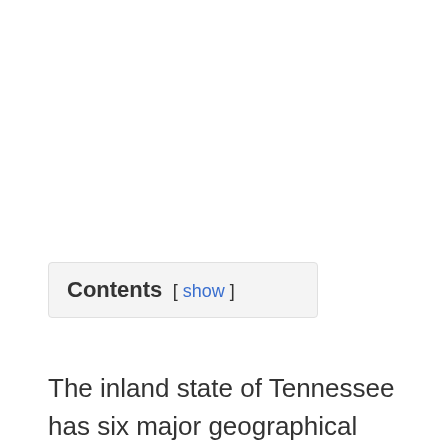Contents [ show ]
The inland state of Tennessee has six major geographical areas including mountains, valleys, plateaus, highlands, farmlands and plains. The temperature